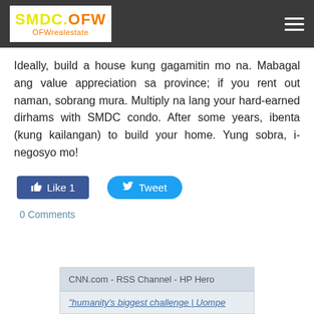SMDC.OFW OFWrealestate
Ideally, build a house kung gagamitin mo na. Mabagal ang value appreciation sa province; if you rent out naman, sobrang mura. Multiply na lang your hard-earned dirhams with SMDC condo. After some years, ibenta (kung kailangan) to build your home. Yung sobra, i-negosyo mo!
Like 1   Tweet
0 Comments
[Figure (screenshot): CNN.com RSS Channel HP Hero widget preview with partial headline visible]